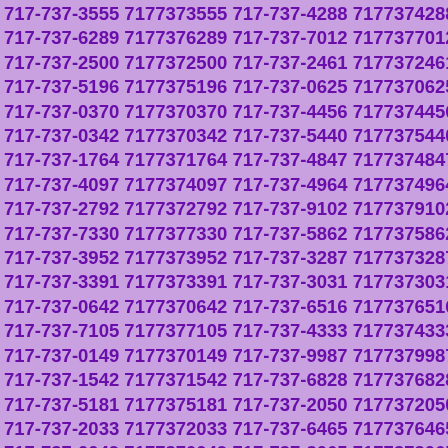717-737-3555 7177373555 717-737-4288 7177374288 717-737-6289 7177376289 717-737-7012 7177377012 717-737-2500 7177372500 717-737-2461 7177372461 717-737-5196 7177375196 717-737-0625 7177370625 717-737-0370 7177370370 717-737-4456 7177374456 717-737-0342 7177370342 717-737-5440 7177375440 717-737-1764 7177371764 717-737-4847 7177374847 717-737-4097 7177374097 717-737-4964 7177374964 717-737-2792 7177372792 717-737-9102 7177379102 717-737-7330 7177377330 717-737-5862 7177375862 717-737-3952 7177373952 717-737-3287 7177373287 717-737-3391 7177373391 717-737-3031 7177373031 717-737-0642 7177370642 717-737-6516 7177376516 717-737-7105 7177377105 717-737-4333 7177374333 717-737-0149 7177370149 717-737-9987 7177379987 717-737-1542 7177371542 717-737-6828 7177376828 717-737-5181 7177375181 717-737-2050 7177372050 717-737-2033 7177372033 717-737-6465 7177376465 717-737-0049 7177370049 717-737-3065 7177373065 717-737-6857 7177376857 717-737-4027 7177374027 717-737-8211 7177378211 717-737-6805 7177376805